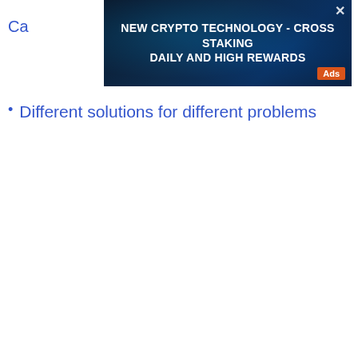Ca
[Figure (other): Advertisement banner with dark blue background and glowing particle effects. Text reads: NEW CRYPTO TECHNOLOGY - CROSS STAKING DAILY AND HIGH REWARDS. Has a close (X) button in top right and an orange Ads badge in bottom right.]
Different solutions for different problems